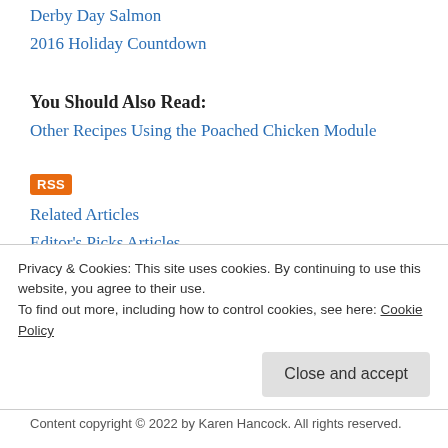Derby Day Salmon
2016 Holiday Countdown
You Should Also Read:
Other Recipes Using the Poached Chicken Module
RSS
Related Articles
Editor's Picks Articles
Top Ten Articles
Previous Features
Site Map
Privacy & Cookies: This site uses cookies. By continuing to use this website, you agree to their use.
To find out more, including how to control cookies, see here: Cookie Policy
Close and accept
Content copyright © 2022 by Karen Hancock. All rights reserved.